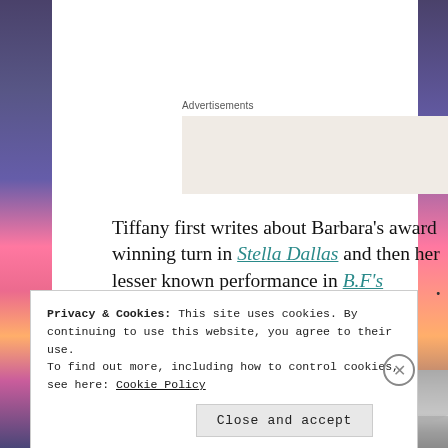Advertisements
[Figure (other): Advertisement placeholder box with decorative dots]
Tiffany first writes about Barbara's award winning turn in Stella Dallas and then her lesser known performance in B.F's Daughter.
[Figure (photo): Black and white photograph of two people, partially visible]
Privacy & Cookies: This site uses cookies. By continuing to use this website, you agree to their use.
To find out more, including how to control cookies, see here: Cookie Policy
Close and accept